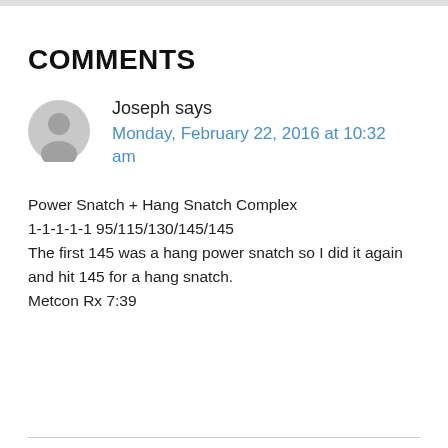COMMENTS
Joseph says
Monday, February 22, 2016 at 10:32 am
Power Snatch + Hang Snatch Complex
1-1-1-1-1 95/115/130/145/145
The first 145 was a hang power snatch so I did it again and hit 145 for a hang snatch.
Metcon Rx 7:39